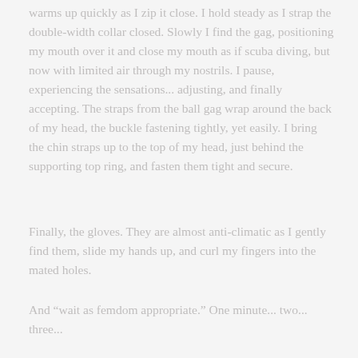warms up quickly as I zip it close. I hold steady as I strap the double-width collar closed. Slowly I find the gag, positioning my mouth over it and close my mouth as if scuba diving, but now with limited air through my nostrils. I pause, experiencing the sensations... adjusting, and finally accepting. The straps from the ball gag wrap around the back of my head, the buckle fastening tightly, yet easily. I bring the chin straps up to the top of my head, just behind the supporting top ring, and fasten them tight and secure.
Finally, the gloves. They are almost anti-climatic as I gently find them, slide my hands up, and curl my fingers into the mated holes.
And “wait as femdom appropriate.” One minute... two... three...